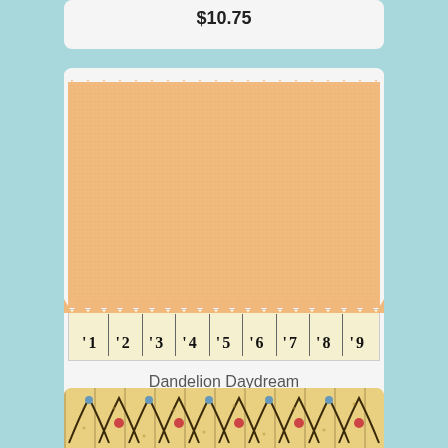$10.75
[Figure (photo): Fabric swatch in peach/light orange color with pinking shear edges and a ruler showing inches 1-9 at the bottom]
Dandelion Daydream
$10.75
[Figure (photo): Partial view of a floral paisley fabric swatch with yellow background, dark swirling vines and blue and red flower motifs]